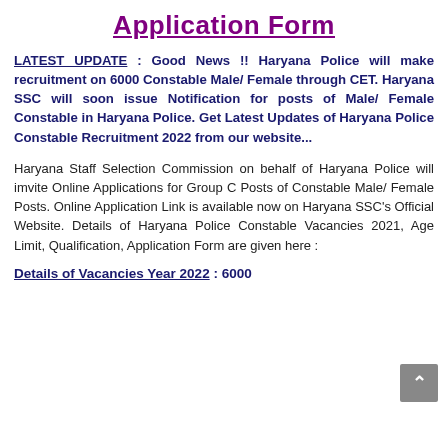Application Form
LATEST UPDATE : Good News !! Haryana Police will make recruitment on 6000 Constable Male/ Female through CET. Haryana SSC will soon issue Notification for posts of Male/ Female Constable in Haryana Police. Get Latest Updates of Haryana Police Constable Recruitment 2022 from our website...
Haryana Staff Selection Commission on behalf of Haryana Police will imvite Online Applications for Group C Posts of Constable Male/ Female Posts. Online Application Link is available now on Haryana SSC's Official Website. Details of Haryana Police Constable Vacancies 2021, Age Limit, Qualification, Application Form are given here :
Details of Vacancies Year 2022 : 6000